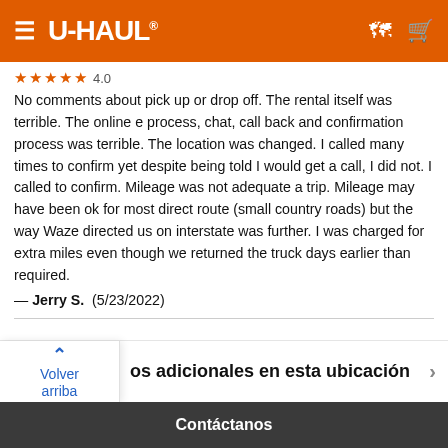U-HAUL
★★★★★ 4.0
No comments about pick up or drop off. The rental itself was terrible. The online e process, chat, call back and confirmation process was terrible. The location was changed. I called many times to confirm yet despite being told I would get a call, I did not. I called to confirm. Mileage was not adequate a trip. Mileage may have been ok for most direct route (small country roads) but the way Waze directed us on interstate was further. I was charged for extra miles even though we returned the truck days earlier than required.
— Jerry S.  (5/23/2022)
os adicionales en esta ubicación
Contáctanos